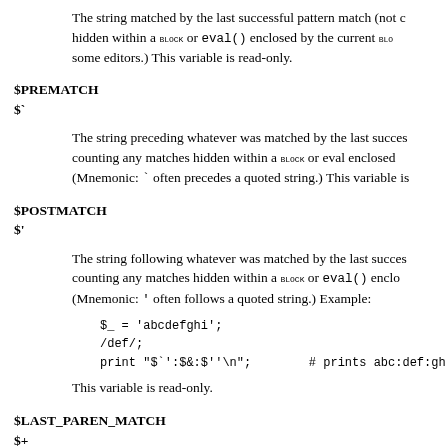The string matched by the last successful pattern match (not counting any matches hidden within a BLOCK or eval() enclosed by the current BLOCK or eval). Some editors.) This variable is read-only.
$PREMATCH
$`
The string preceding whatever was matched by the last successful pattern match, not counting any matches hidden within a BLOCK or eval enclosed... (Mnemonic: ` often precedes a quoted string.) This variable is...
$POSTMATCH
$'
The string following whatever was matched by the last successful pattern match, not counting any matches hidden within a BLOCK or eval() enclosed... (Mnemonic: ' often follows a quoted string.) Example:
This variable is read-only.
$LAST_PAREN_MATCH
$+